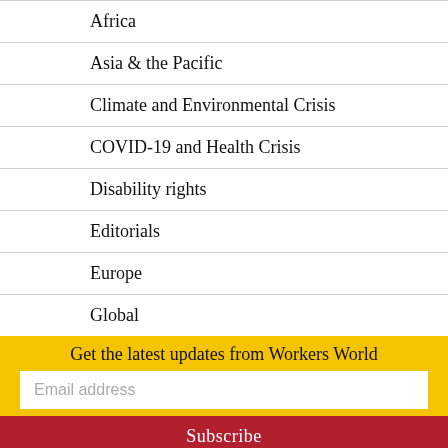Africa
Asia & the Pacific
Climate and Environmental Crisis
COVID-19 and Health Crisis
Disability rights
Editorials
Europe
Global
Human needs before profits
Im/migrants and Refugees
Latin America & the Caribbean
Get the latest updates from Workers World
Email address
Subscribe